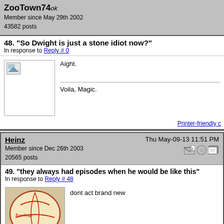ZooTown74 ok
Member since May 29th 2002
43582 posts
48. "So Dwight is just a stone idiot now?"
In response to Reply # 0
Aight.

Voila, Magic.
Printer-friendly c
Heinz
Member since Dec 26th 2003
20565 posts
Thu May-09-13 11:51 PM
49. "they always had episodes when he would be like this"
In response to Reply # 48
dont act brand new